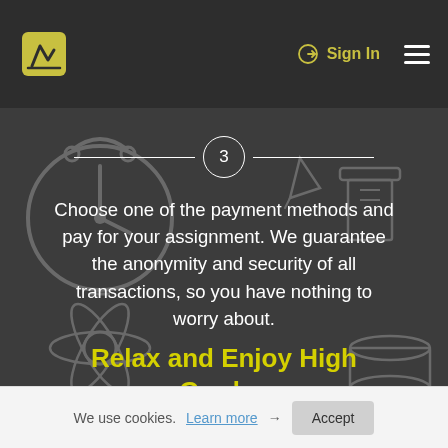Sign In
[Figure (illustration): Background illustration with clock, atom, books, and study-related icons overlaid on dark background]
3
Choose one of the payment methods and pay for your assignment. We guarantee the anonymity and security of all transactions, so you have nothing to worry about.
Relax and Enjoy High Grades
We use cookies. Learn more → Accept